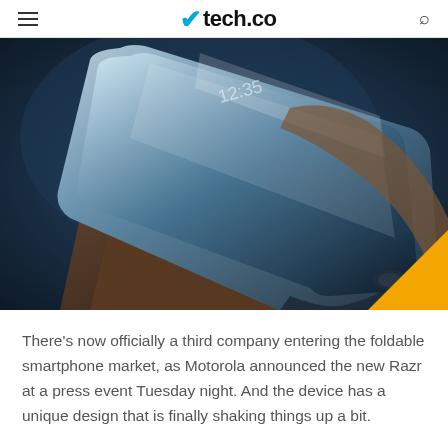tech.co
[Figure (photo): A hand holding a Motorola Razr foldable smartphone tilted at an angle, showing the flexible display. Dark blue background.]
There's now officially a third company entering the foldable smartphone market, as Motorola announced the new Razr at a press event Tuesday night. And the device has a unique design that is finally shaking things up a bit.